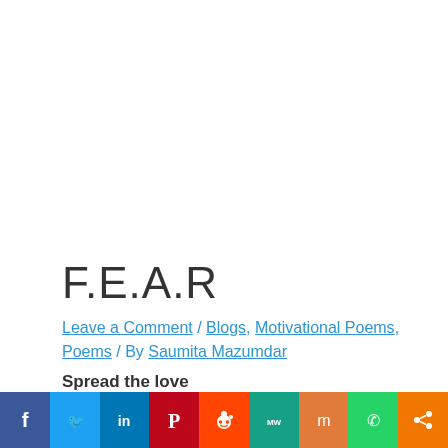F.E.A.R
Leave a Comment / Blogs, Motivational Poems, Poems / By Saumita Mazumdar
Spread the love
[Figure (infographic): Row of social media sharing icons: Facebook (blue), WhatsApp (green), Twitter (light blue), LinkedIn (dark blue), Pinterest (red), Reddit (orange-red), MeWe (teal), Mix (orange), Share (orange)]
[Figure (infographic): Bottom bar with social sharing buttons: Facebook (dark blue), Twitter (light blue), LinkedIn (dark blue), Pinterest (red), Reddit (orange), MeWe (teal), Mix (orange), WhatsApp (green), Share (orange)]